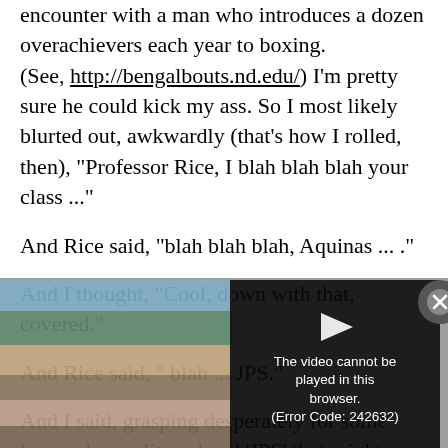encounter with a man who introduces a dozen overachievers each year to boxing. (See, http://bengalbouts.nd.edu/) I'm pretty sure he could kick my ass. So I most likely blurted out, awkwardly (that's how I rolled, then), "Professor Rice, I blah blah blah your class ..."
And Rice said, "blah blah blah, Aquinas ... ."
And I thought, "Cool, down with that, covered."
And Rice said, " blah ... JPS."
And I said, grasping desperately for some law-and-morality-related 'JPS' that might possibly fit this kind of disc…
[Figure (screenshot): Video player overlay showing 'The video cannot be played in this browser. (Error Code: 242632)' with a play button and close button, overlaid on a partially visible image (appears to be a boxing or crowd photo).]
I even … -French '-uh' on the …
Rice st… …sing a beat corrected me, clearly and firmly, "No. John Paul the Second."